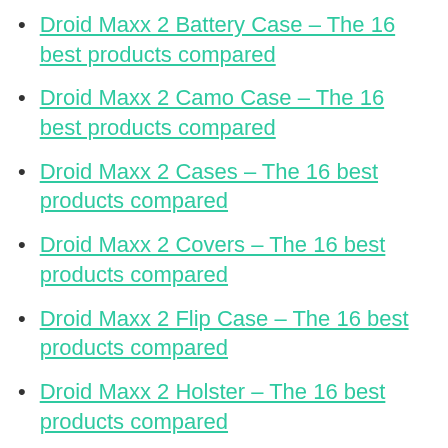Droid Maxx 2 Battery Case – The 16 best products compared
Droid Maxx 2 Camo Case – The 16 best products compared
Droid Maxx 2 Cases – The 16 best products compared
Droid Maxx 2 Covers – The 16 best products compared
Droid Maxx 2 Flip Case – The 16 best products compared
Droid Maxx 2 Holster – The 16 best products compared
Droid Maxx 2 Phone – The 16 best